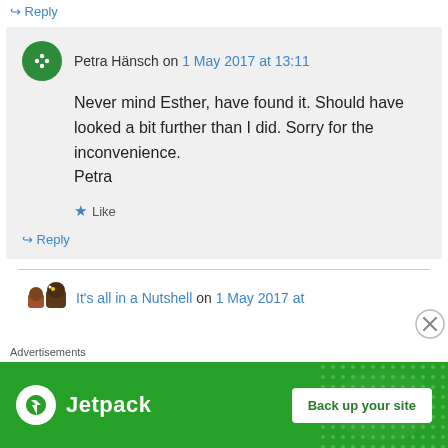↳ Reply
Petra Hänsch on 1 May 2017 at 13:11
Never mind Esther, have found it. Should have looked a bit further than I did. Sorry for the inconvenience.
Petra
★ Like
↳ Reply
It's all in a Nutshell on 1 May 2017 at
Advertisements
[Figure (logo): Jetpack advertisement banner with logo and 'Back up your site' button on green background]